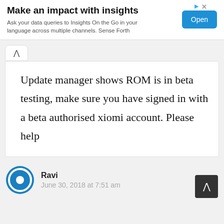[Figure (other): Advertisement banner with title 'Make an impact with insights', description text, and an Open button]
Update manager shows ROM is in beta testing, make sure you have signed in with a beta authorised xiomi account. Please help
Ravi
June 30, 2018 at 7:51 am